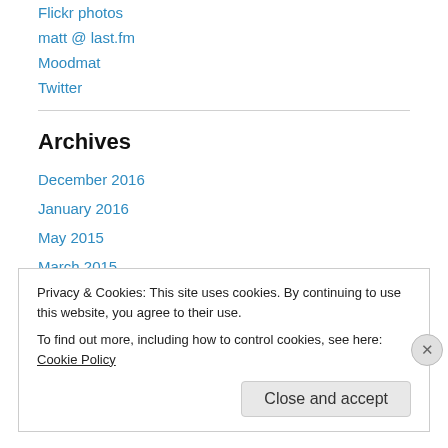Flickr photos
matt @ last.fm
Moodmat
Twitter
Archives
December 2016
January 2016
May 2015
March 2015
January 2015
December 2014
Privacy & Cookies: This site uses cookies. By continuing to use this website, you agree to their use.
To find out more, including how to control cookies, see here: Cookie Policy